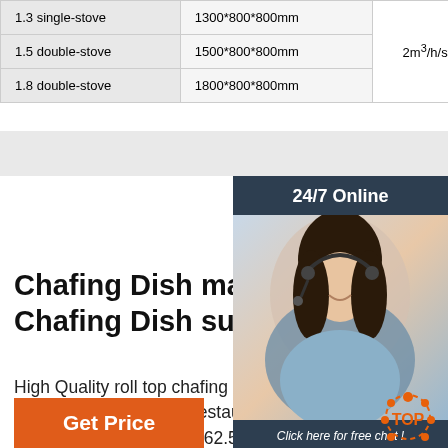| Model | Dimensions | Gas consumption |
| --- | --- | --- |
| 1.3 single-stove | 1300*800*800mm | 2m³/h/stove (gas) |
| 1.5 double-stove | 1500*800*800mm |  |
| 1.8 double-stove | 1800*800*800mm |  |
[Figure (photo): Customer service representative with headset, 24/7 online chat widget overlay]
Chafing Dish manufacturers, Chafing Dish suppliers ...
High Quality roll top chafing dish buffet warmer stainless steel restaurant kitchen equipment. US$ 60.55 - 62.55 Piece. (Min. Order) Lead Time: 40 days. FOB China (Mainland) Freight Cost Available. Inquire Now Compare. Jiangmen Chenshang Import & Export Company Ltd. 1st year China (mainland).
[Figure (logo): Back to TOP logo with orange dots]
Get Price